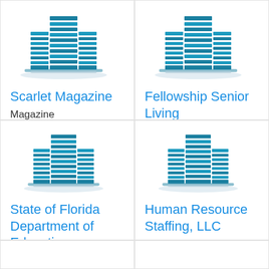[Figure (logo): Building/company icon in teal/blue stripes for Scarlet Magazine]
Scarlet Magazine
Magazine
[Figure (logo): Building/company icon in teal/blue stripes for Fellowship Senior Living]
Fellowship Senior Living
[Figure (logo): Building/company icon in teal/blue stripes for State of Florida Department of Education]
State of Florida Department of Education
State agency
[Figure (logo): Building/company icon in teal/blue stripes for Human Resource Staffing, LLC]
Human Resource Staffing, LLC